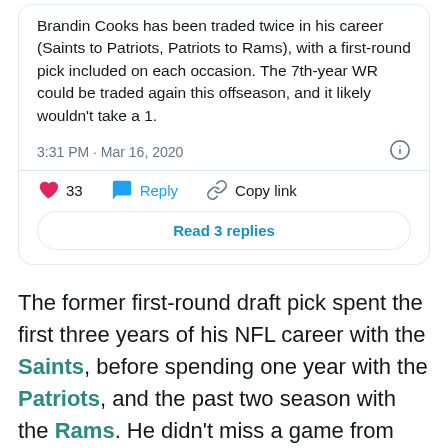Brandin Cooks has been traded twice in his career (Saints to Patriots, Patriots to Rams), with a first-round pick included on each occasion. The 7th-year WR could be traded again this offseason, and it likely wouldn't take a 1.
3:31 PM · Mar 16, 2020
33  Reply  Copy link
Read 3 replies
The former first-round draft pick spent the first three years of his NFL career with the Saints, before spending one year with the Patriots, and the past two season with the Rams. He didn't miss a game from 2015-2018, and missed just two in 2019 with a concussion. And while that doesn't seem all that